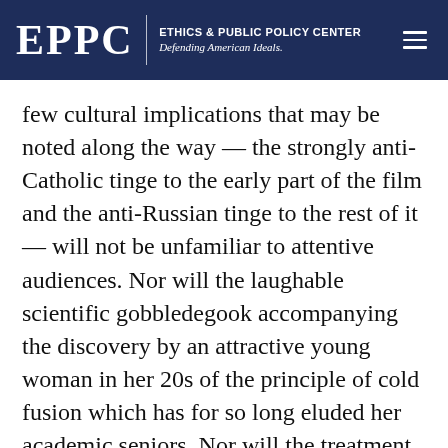EPPC | ETHICS & PUBLIC POLICY CENTER Defending American Ideals.
few cultural implications that may be noted along the way — the strongly anti-Catholic tinge to the early part of the film and the anti-Russian tinge to the rest of it — will not be unfamiliar to attentive audiences. Nor will the laughable scientific gobbledegook accompanying the discovery by an attractive young woman in her 20s of the principle of cold fusion which has for so long eluded her academic seniors. Nor will the treatment of art and poetry as nothing but a kind of cultural brand name, a way of getting women into bed and secret formulae (and other things) out of their underwear. Nor will the